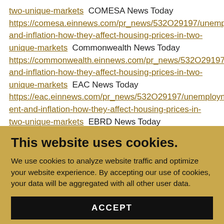two-unique-markets COMESA News Today https://comesa.einnews.com/pr_news/532O29197/unemployment-and-inflation-how-they-affect-housing-prices-in-two-unique-markets Commonwealth News Today https://commonwealth.einnews.com/pr_news/532O29197/unemployment-and-inflation-how-they-affect-housing-prices-in-two-unique-markets EAC News Today https://eac.einnews.com/pr_news/532O29197/unemployment-and-inflation-how-they-affect-housing-prices-in-two-unique-markets EBRD News Today
This website uses cookies.
We use cookies to analyze website traffic and optimize your website experience. By accepting our use of cookies, your data will be aggregated with all other user data.
ACCEPT